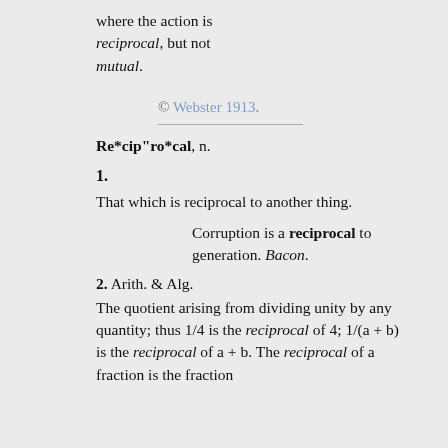where the action is reciprocal, but not mutual.
© Webster 1913.
Re*cip"ro*cal, n.
1.
That which is reciprocal to another thing.
Corruption is a reciprocal to generation. Bacon.
2. Arith. & Alg.
The quotient arising from dividing unity by any quantity; thus 1/4 is the reciprocal of 4; 1/(a + b) is the reciprocal of a + b. The reciprocal of a fraction is the fraction